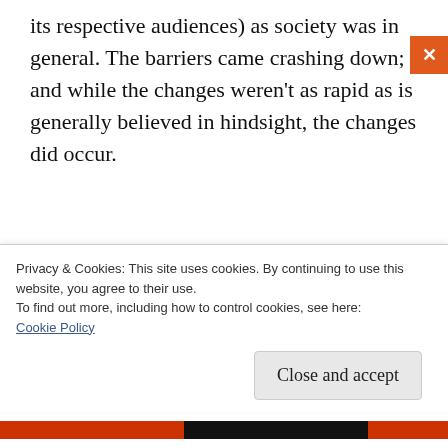its respective audiences) as society was in general. The barriers came crashing down; and while the changes weren't as rapid as is generally believed in hindsight, the changes did occur.
Elvis led the revolution for just a few short years. He set the world on fire with his performing style (honed through a stage fright
Privacy & Cookies: This site uses cookies. By continuing to use this website, you agree to their use.
To find out more, including how to control cookies, see here:
Cookie Policy
Close and accept